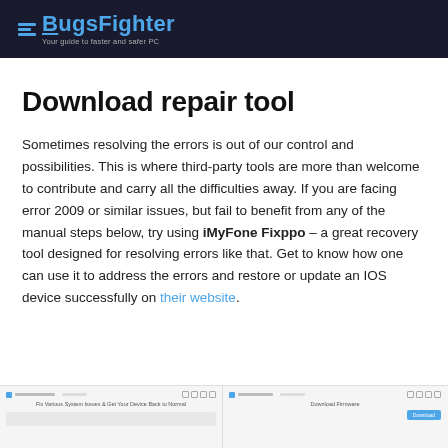BugsFighter — Your guide to faster and safer PC
Download repair tool
Sometimes resolving the errors is out of our control and possibilities. This is where third-party tools are more than welcome to contribute and carry all the difficulties away. If you are facing error 2009 or similar issues, but fail to benefit from any of the manual steps below, try using iMyFone Fixppo – a great recovery tool designed for resolving errors like that. Get to know how one can use it to address the errors and restore or update an IOS device successfully on their website.
[Figure (screenshot): Two side-by-side screenshots of iMyFone Fixppo software interface showing system issue fixing and firmware download screens]